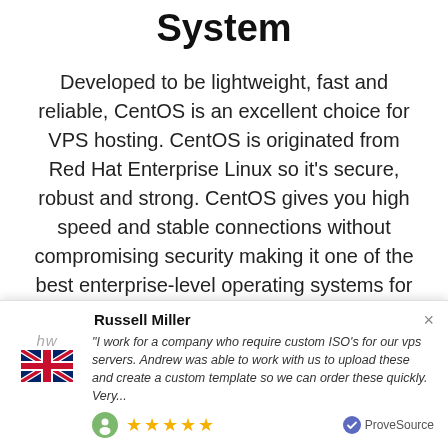System
Developed to be lightweight, fast and reliable, CentOS is an excellent choice for VPS hosting. CentOS is originated from Red Hat Enterprise Linux so it's secure, robust and strong. CentOS gives you high speed and stable connections without compromising security making it one of the best enterprise-level operating systems for web hosting.
CentOS Server Versions
Russell Miller
"I work for a company who require custom ISO's for our vps servers. Andrew was able to work with us to upload these and create a custom template so we can order these quickly. Very..."
ProveSource